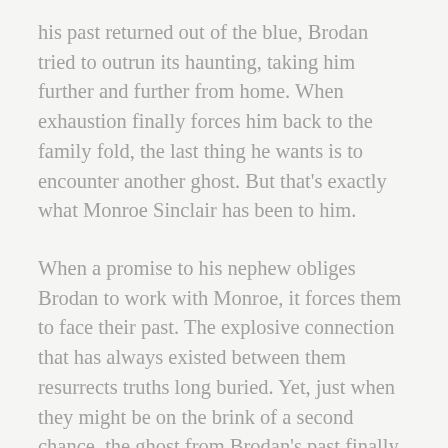his past returned out of the blue, Brodan tried to outrun its haunting, taking him further and further from home. When exhaustion finally forces him back to the family fold, the last thing he wants is to encounter another ghost. But that's exactly what Monroe Sinclair has been to him.
When a promise to his nephew obliges Brodan to work with Monroe, it forces them to face their past. The explosive connection that has always existed between them resurrects truths long buried. Yet, just when they might be on the brink of a second chance, the ghost from Brodan's past finally catches up to him and threatens not just their happiness, but their very lives.